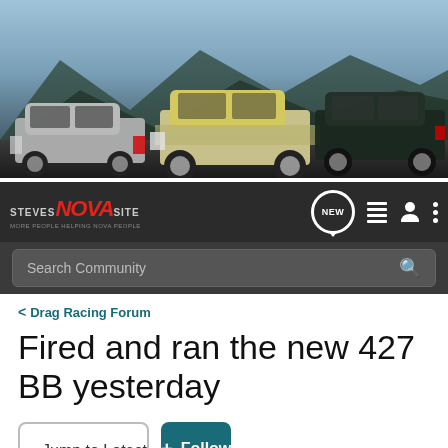[Figure (photo): Banner showing three classic muscle cars (Chevrolet Novas) parked on a road with a mountain/sky background. Dark atmospheric lighting.]
[Figure (logo): Steves Nova Site logo in dark navigation bar with nav icons: NEW chat badge, list icon, person icon, dots menu icon]
Search Community
< Drag Racing Forum
Fired and ran the new 427 BB yesterday
→ Jump to Latest
+ Follow
1 - 6 of 6 Posts